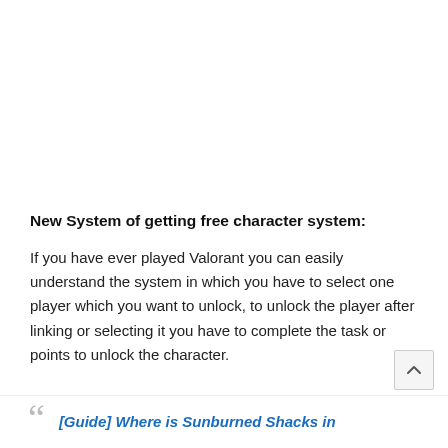New System of getting free character system:
If you have ever played Valorant you can easily understand the system in which you have to select one player which you want to unlock, to unlock the player after linking or selecting it you have to complete the task or points to unlock the character.
[Guide] Where is Sunburned Shacks in